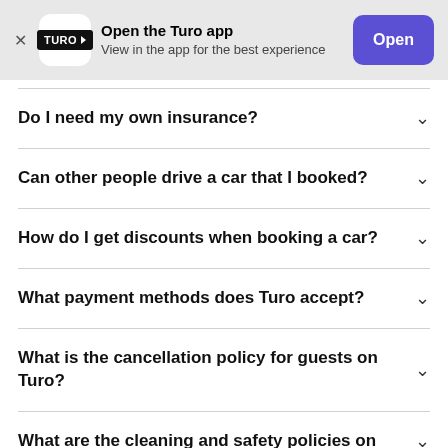[Figure (screenshot): Turo app banner with logo, open button]
Do I need my own insurance?
Can other people drive a car that I booked?
How do I get discounts when booking a car?
What payment methods does Turo accept?
What is the cancellation policy for guests on Turo?
What are the cleaning and safety policies on